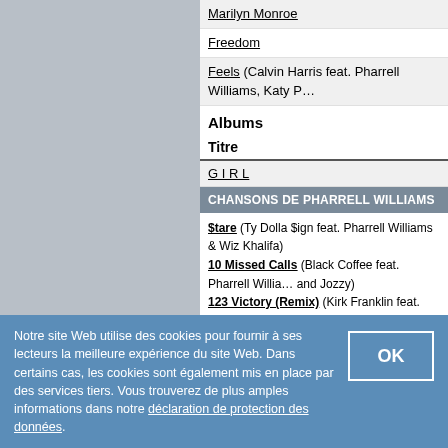[Figure (other): Gray left panel / sidebar background]
Marilyn Monroe
Freedom
Feels (Calvin Harris feat. Pharrell Williams, Katy P…)
Albums
Titre
G I R L
CHANSONS DE PHARRELL WILLIAMS
$tare (Ty Dolla $ign feat. Pharrell Williams & Wiz Khalifa)
10 Missed Calls (Black Coffee feat. Pharrell Williams and Jozzy)
123 Victory (Remix) (Kirk Franklin feat. Pharrell Williams)
Able
ADD SUV (Uffie feat. Pharrell Williams)
Aerosol Can (Major Lazer feat. Pharrell Williams)
Ain't No Doubt About It (The Game feat. Justin Timberlake & Pharrell)
Amazing (T.I. feat. Pharrell)
Angel (Pharrell)
Announcement (Common feat. Pharrell)
Anything (Jay-Z feat. Usher & Pharrell)
Apple (Alicia Keys & Pharrell Williams)
Notre site Web utilise des cookies pour fournir à ses lecteurs la meilleure expérience du site Web. Dans certains cas, les cookies sont également mis en place par des services tiers. Vous trouverez de plus amples informations dans notre déclaration de protection des données.